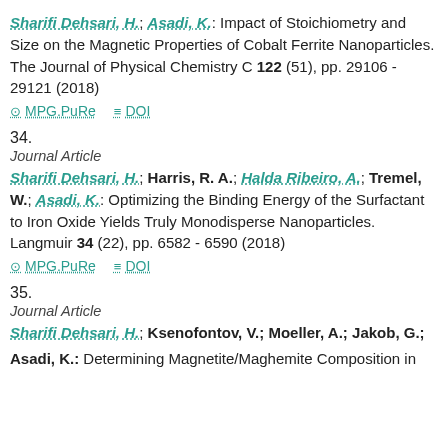Sharifi Dehsari, H.; Asadi, K.: Impact of Stoichiometry and Size on the Magnetic Properties of Cobalt Ferrite Nanoparticles. The Journal of Physical Chemistry C 122 (51), pp. 29106 - 29121 (2018)
MPG.PuRe   DOI
34.
Journal Article
Sharifi Dehsari, H.; Harris, R. A.; Halda Ribeiro, A.; Tremel, W.; Asadi, K.: Optimizing the Binding Energy of the Surfactant to Iron Oxide Yields Truly Monodisperse Nanoparticles. Langmuir 34 (22), pp. 6582 - 6590 (2018)
MPG.PuRe   DOI
35.
Journal Article
Sharifi Dehsari, H.; Ksenofontov, V.; Moeller, A.; Jakob, G.; Asadi, K.: Determining Magnetite/Maghemite Composition in...